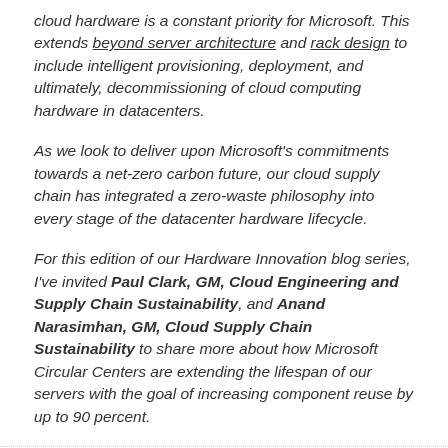cloud hardware is a constant priority for Microsoft. This extends beyond server architecture and rack design to include intelligent provisioning, deployment, and ultimately, decommissioning of cloud computing hardware in datacenters.
As we look to deliver upon Microsoft's commitments towards a net-zero carbon future, our cloud supply chain has integrated a zero-waste philosophy into every stage of the datacenter hardware lifecycle.
For this edition of our Hardware Innovation blog series, I've invited Paul Clark, GM, Cloud Engineering and Supply Chain Sustainability, and Anand Narasimhan, GM, Cloud Supply Chain Sustainability to share more about how Microsoft Circular Centers are extending the lifespan of our servers with the goal of increasing component reuse by up to 90 percent.